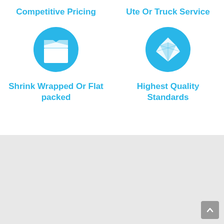Competitive Pricing
[Figure (illustration): Blue circle icon with white open box/package symbol]
Shrink Wrapped Or Flat packed
Ute Or Truck Service
[Figure (illustration): Blue circle icon with white diamond gemstone symbol]
Highest Quality Standards